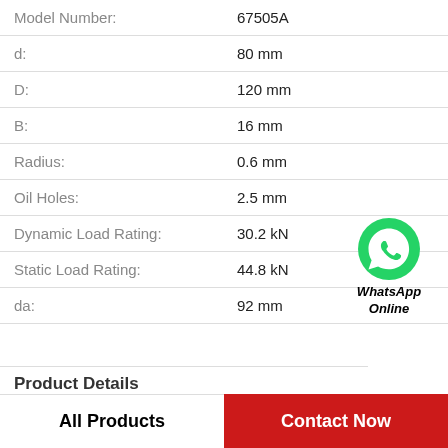| Property | Value |
| --- | --- |
| Model Number: | 67505A |
| d: | 80 mm |
| D: | 120 mm |
| B: | 16 mm |
| Radius: | 0.6 mm |
| Oil Holes: | 2.5 mm |
| Dynamic Load Rating: | 30.2 kN |
| Static Load Rating: | 44.8 kN |
| da: | 92 mm |
[Figure (logo): WhatsApp green circle icon with phone handset, with text 'WhatsApp Online' below in bold italic]
Product Details
All Products
Contact Now